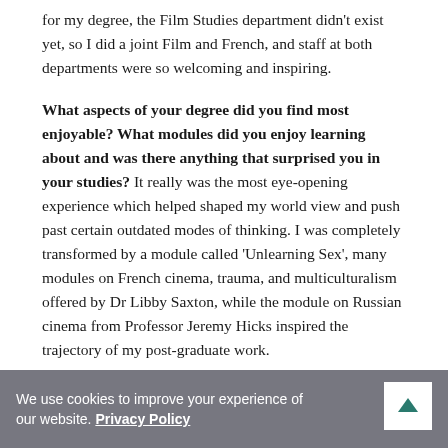for my degree, the Film Studies department didn't exist yet, so I did a joint Film and French, and staff at both departments were so welcoming and inspiring.
What aspects of your degree did you find most enjoyable? What modules did you enjoy learning about and was there anything that surprised you in your studies? It really was the most eye-opening experience which helped shaped my world view and push past certain outdated modes of thinking. I was completely transformed by a module called 'Unlearning Sex', many modules on French cinema, trauma, and multiculturalism offered by Dr Libby Saxton, while the module on Russian cinema from Professor Jeremy Hicks inspired the trajectory of my post-graduate work.
We use cookies to improve your experience of our website. Privacy Policy